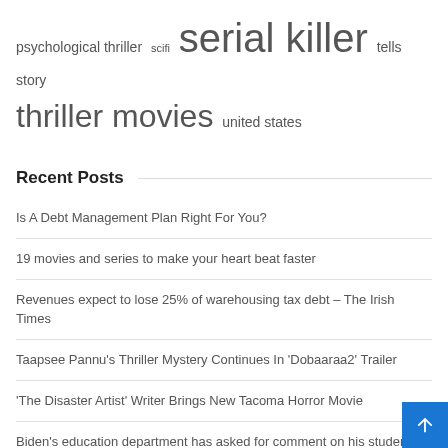psychological thriller  scifi  serial killer  tells story  thriller movies  united states
Recent Posts
Is A Debt Management Plan Right For You?
19 movies and series to make your heart beat faster
Revenues expect to lose 25% of warehousing tax debt – The Irish Times
Taapsee Pannu's Thriller Mystery Continues In 'Dobaaraa2' Trailer
'The Disaster Artist' Writer Brings New Tacoma Horror Movie
Biden's education department has asked for comment on his student loan reform proposals. Over 4,000 people responded, sharing their struggles with debt.